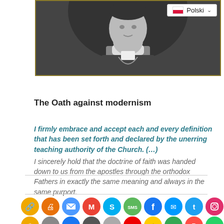[Figure (photo): Black and white photograph of a Catholic clergyman in white collar and dark vestments with chain, with a language selector dropdown showing 'Polski' in upper right corner]
The Oath against modernism
I firmly embrace and accept each and every definition that has been set forth and declared by the unerring teaching authority of the Church. (…) I sincerely hold that the doctrine of faith was handed down to us from the apostles through the orthodox Fathers in exactly the same meaning and always in the same purport.
[Figure (infographic): Row of social media sharing icons including link, print, email, Gmail, Skype, SMS, Facebook, Messenger, Twitter, Instagram, and Reddit, followed by a second partial row of more sharing icons]